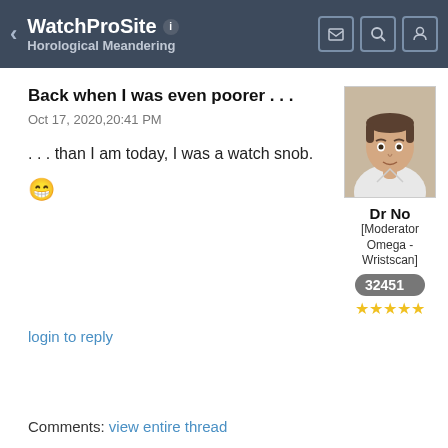WatchProSite — Horological Meandering
Back when I was even poorer . . .
Oct 17, 2020,20:41 PM
. . . than I am today, I was a watch snob.
[Figure (photo): Profile photo of user Dr No, showing a man in white shirt]
Dr No
[Moderator Omega - Wristscan]
32451
★★★★★
login to reply
Comments: view entire thread